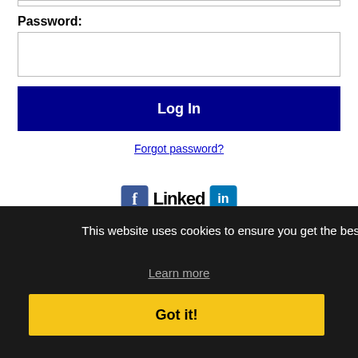Password:
Log In
Forgot password?
[Figure (logo): Facebook icon and LinkedIn logo]
This website uses cookies to ensure you get the best experience on our website.
Learn more
Got it!